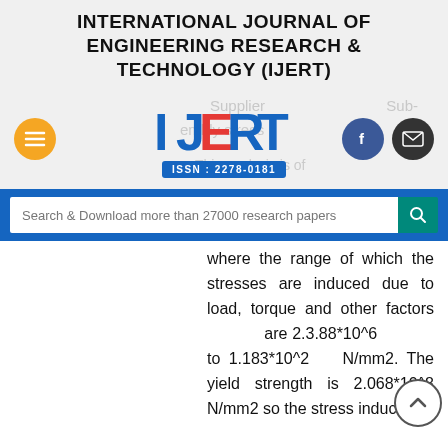INTERNATIONAL JOURNAL OF ENGINEERING RESEARCH & TECHNOLOGY (IJERT)
[Figure (logo): IJERT logo with ISSN: 2278-0181, orange hamburger menu button on left, Facebook and email icon buttons on right]
Search & Download more than 27000 research papers
where the range of which the stresses are induced due to load, torque and other factors are 2.3.88*10^6 to 1.183*10^2 N/mm2. The yield strength is 2.068*10^8 N/mm2 so the stress induced in